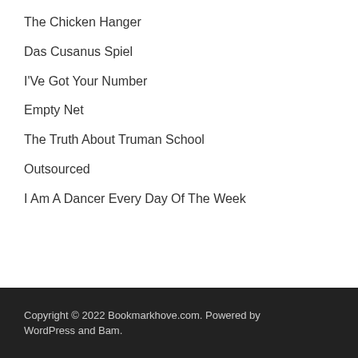The Chicken Hanger
Das Cusanus Spiel
I'Ve Got Your Number
Empty Net
The Truth About Truman School
Outsourced
I Am A Dancer Every Day Of The Week
Copyright © 2022 Bookmarkhove.com. Powered by WordPress and Bam.